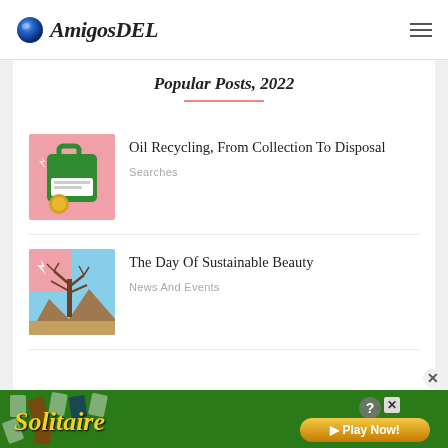AmigosDEL
Popular Posts, 2022
[Figure (photo): Green plastic oil container/canister with yellow coin, on pink background]
Oil Recycling, From Collection To Disposal
Searches
[Figure (photo): Bare tree in arid landscape with mountains in background, on pink background]
The Day Of Sustainable Beauty
News And Events
[Figure (screenshot): Solitaire game advertisement banner with Play Now button]